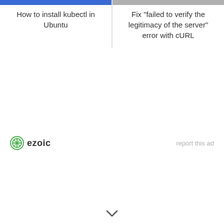[Figure (screenshot): Card with blue banner image at top for 'How to install kubectl in Ubuntu']
How to install kubectl in Ubuntu
[Figure (screenshot): Card with gray banner image at top for 'Fix "failed to verify the legitimacy of the server" error with cURL']
Fix "failed to verify the legitimacy of the server" error with cURL
[Figure (logo): Ezoic logo with green circular icon and bold 'ezoic' text]
report this ad